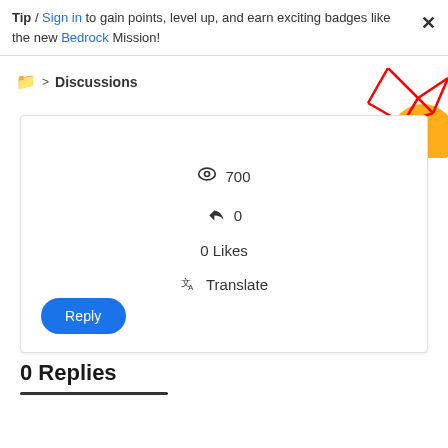Tip / Sign in to gain points, level up, and earn exciting badges like the new Bedrock Mission!
Discussions
[Figure (illustration): Decorative geometric red lines and orange circle graphic in top right corner]
700
0
0 Likes
Translate
Reply
0 Replies